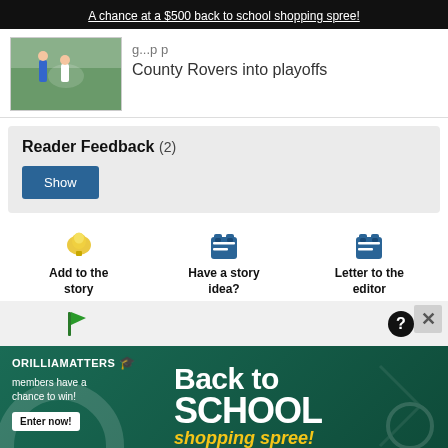A chance at a $500 back to school shopping spree!
County Rovers into playoffs
Reader Feedback (2)
Show
Add to the story
Have a story idea?
Letter to the editor
[Figure (infographic): Ad banner: OrilliaMATTERS members have a chance to win! Back to SCHOOL shopping spree! Enter now!]